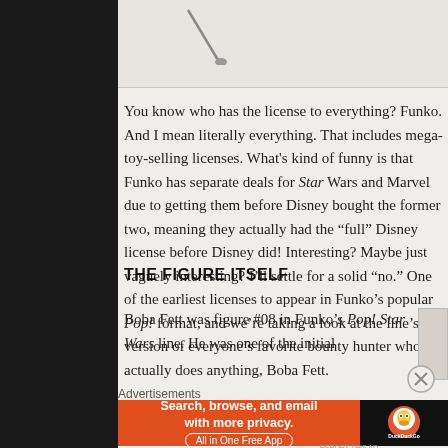[Figure (illustration): Partial image showing what appears to be a thin rod or stick object against a light background, cropped at top of page]
You know who has the license to everything? Funko. And I mean literally everything. That includes mega-toy-selling licenses. What's kind of funny is that Funko has separate deals for Star Wars and Marvel due to getting them before Disney bought the former two, meaning they actually had the “full” Disney license before Disney did! Interesting? Maybe just vaguely interesting? I’ll settle for a solid “no.” One of the earliest licenses to appear in Funko’s popular Pop! format, and we’re taking a look at the line’s version of everyone’s favorite bounty hunter who actually does anything, Boba Fett.
THE FIGURE ITSELF
Boba Fett was figure #08 in Funko’s Pop! Star Wars line. He was one of the initial
Advertisements
[Figure (screenshot): DuckDuckGo advertisement banner with orange background on left side showing text 'Search, browse, and email with more privacy. All in One Free App' and a dark right side with DuckDuckGo logo]